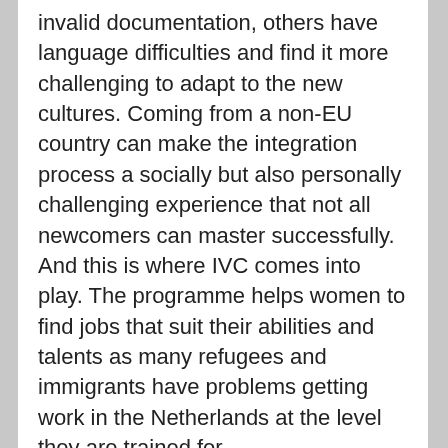invalid documentation, others have language difficulties and find it more challenging to adapt to the new cultures. Coming from a non-EU country can make the integration process a socially but also personally challenging experience that not all newcomers can master successfully.
And this is where IVC comes into play. The programme helps women to find jobs that suit their abilities and talents as many refugees and immigrants have problems getting work in the Netherlands at the level they are trained for.
Solutions to the stated problems are provided by the International Women's Center through the so-called IVC Participation Ladder Model. It provides participants with a follow-up system, Pré-VPL, and VPL training. The IVC Participation Ladder Model is a scientifically validated framework with European recognition. It focuses on climbing the ladder in a sequence: the...